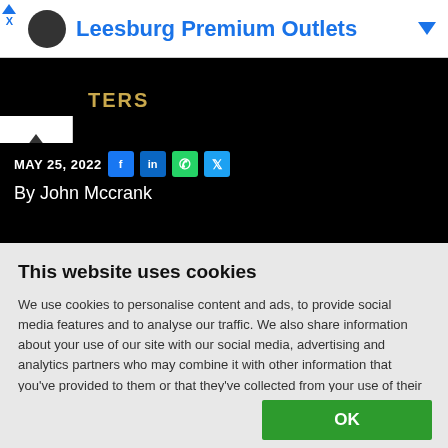[Figure (screenshot): Ad banner showing Leesburg Premium Outlets logo and name in blue text with a dropdown arrow]
[Figure (screenshot): Black navigation bar with golden text 'PERS' visible and a white collapse button with up arrow]
MAY 25, 2022
By John Mccrank
This website uses cookies
We use cookies to personalise content and ads, to provide social media features and to analyse our traffic. We also share information about your use of our site with our social media, advertising and analytics partners who may combine it with other information that you've provided to them or that they've collected from your use of their services
OK